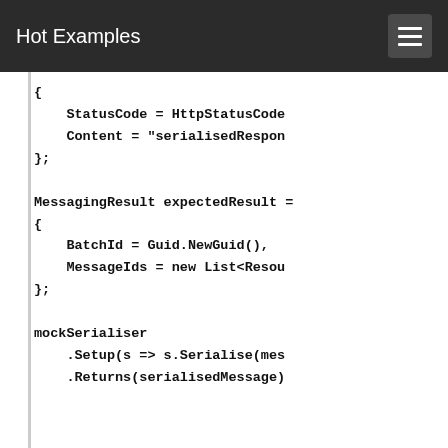Hot Examples
{
    StatusCode = HttpStatusCode
    Content = "serialisedRespon
};

MessagingResult expectedResult =
{
    BatchId = Guid.NewGuid(),
    MessageIds = new List<Resou
};

mockSerialiser
    .Setup(s => s.Serialise(mes
    .Returns(serialisedMessage)